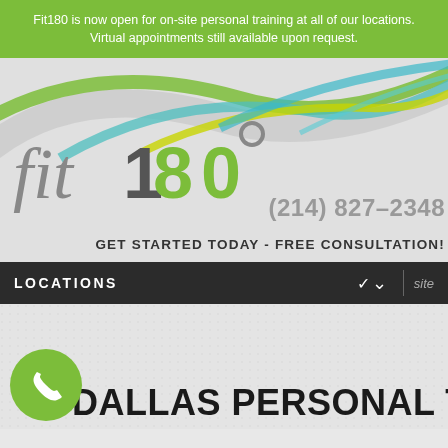Fit180 is now open for on-site personal training at all of our locations. Virtual appointments still available upon request.
[Figure (logo): Fit180 logo with swoosh decorative curves in green, teal, yellow and blue. Logo text reads 'fit180' in grey and green. Phone number (214) 827-2348 and CTA text GET STARTED TODAY - FREE CONSULTATION!]
LOCATIONS
DALLAS PERSONAL TRAINING